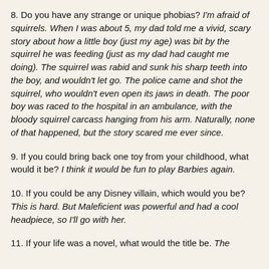8. Do you have any strange or unique phobias? I'm afraid of squirrels. When I was about 5, my dad told me a vivid, scary story about how a little boy (just my age) was bit by the squirrel he was feeding (just as my dad had caught me doing). The squirrel was rabid and sunk his sharp teeth into the boy, and wouldn't let go. The police came and shot the squirrel, who wouldn't even open its jaws in death. The poor boy was raced to the hospital in an ambulance, with the bloody squirrel carcass hanging from his arm. Naturally, none of that happened, but the story scared me ever since.
9. If you could bring back one toy from your childhood, what would it be? I think it would be fun to play Barbies again.
10. If you could be any Disney villain, which would you be? This is hard. But Maleficient was powerful and had a cool headpiece, so I'll go with her.
11. If your life was a novel, what would the title be. The